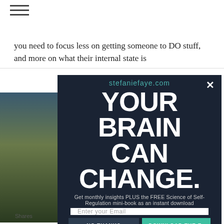≡ (hamburger menu icon)
you need to focus less on getting someone to DO stuff, and more on what their internal state is
[Figure (photo): Landscape photo of grassland/prairie at dusk with dark sky]
[Figure (screenshot): Modal popup overlay on stefaniefaye.com with headline YOUR BRAIN CAN CHANGE., email signup form, NO THANKS button and DOWNLOAD THE E-BOOK button]
Shares